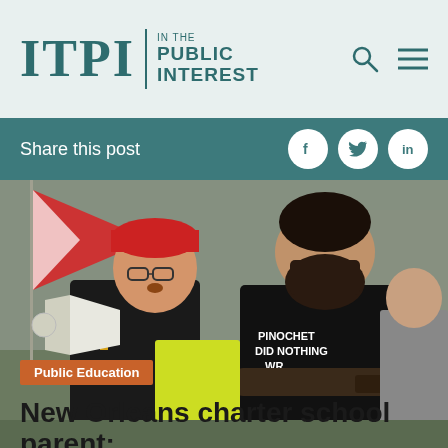ITPI | IN THE PUBLIC INTEREST
Share this post
[Figure (photo): Outdoor protest scene showing two men in the foreground. A man in a black polo shirt with yellow details holds a megaphone and wears a red cap and glasses. Next to him stands a bearded man in a black t-shirt reading 'PINOCHET DID NOTHING' with arms crossed and visible tattoos. A flag is visible in the background.]
Public Education
New Orleans charter school parent: